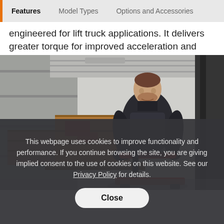Features | Model Types | Options and Accessories
engineered for lift truck applications. It delivers greater torque for improved acceleration and smoother plug reversals.
[Figure (photo): Warehouse worker in dark hoodie operating a powered pallet jack loaded with cardboard boxes stacked on a pallet, inside a cold storage or loading dock area with insulated walls and a door in the background.]
This webpage uses cookies to improve functionality and performance. If you continue browsing the site, you are giving implied consent to the use of cookies on this website. See our Privacy Policy for details.